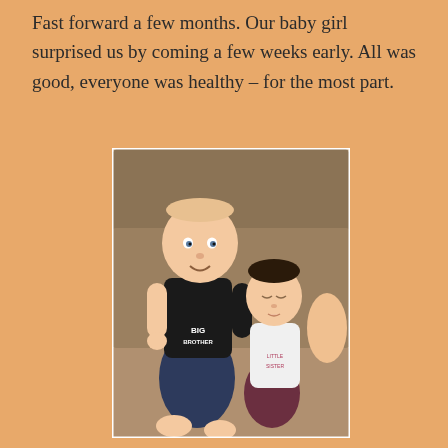Fast forward a few months. Our baby girl surprised us by coming a few weeks early. All was good, everyone was healthy – for the most part.
[Figure (photo): A toddler boy wearing a black 'Big Brother' shirt sitting on a couch next to a newborn baby girl in a white onesie and dark floral pants, both sitting on the floor in front of a brown couch.]